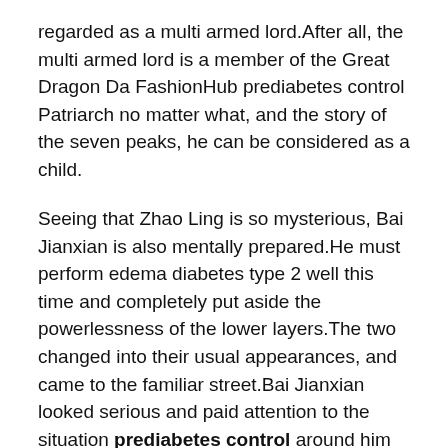regarded as a multi armed lord.After all, the multi armed lord is a member of the Great Dragon Da FashionHub prediabetes control Patriarch no matter what, and the story of the seven peaks, he can be considered as a child.
Seeing that Zhao Ling is so mysterious, Bai Jianxian is also mentally prepared.He must perform edema diabetes type 2 well this time and completely put aside the powerlessness of the lower layers.The two changed into their usual appearances, and came to the familiar street.Bai Jianxian looked serious and paid attention to the situation prediabetes control around him from time to time.Dionysus Lower Blood Sugar Herbal Supplements prediabetes control Pavilion, this is.Bai Jianxian asked.Let is go, I .
11.Which Snacks Are Good For Diabetics?